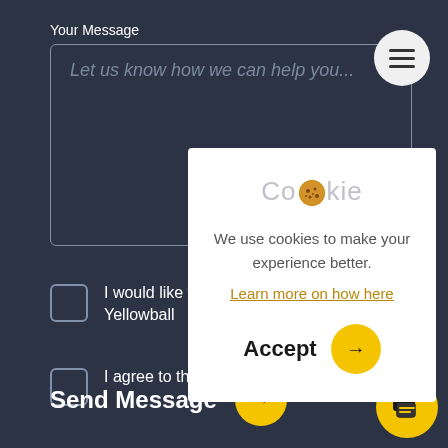Your Message
Let us know how we can help you...
I would like to Yellowball
I agree to the
Send Message
[Figure (screenshot): Cookie consent modal popup with cookie icon, text 'We use cookies to make your experience better. Learn more on how here', and Accept button with yellow arrow circle]
Cookie
We use cookies to make your experience better.
Learn more on how here
Accept